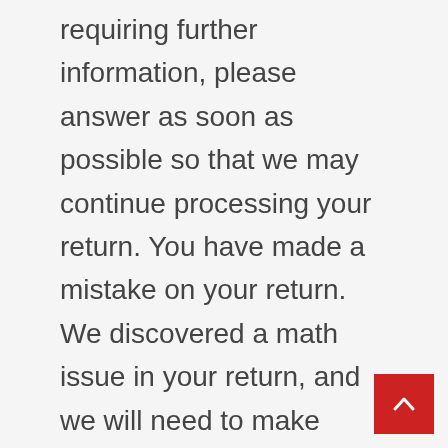requiring further information, please answer as soon as possible so that we may continue processing your return. You have made a mistake on your return. We discovered a math issue in your return, and we will need to make another adjustment as a result. Should you get a different refund amount as a result of the adjustment than you anticipated, we will send you a letter explaining the adjustment. There are issues with direct deposit. If you requested direct deposit, but the account number was provided wrong, your bank will not be able to complete